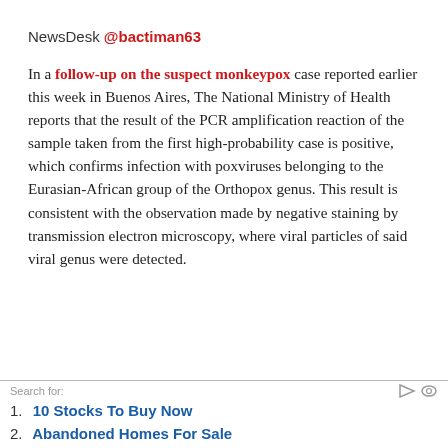NewsDesk @bactiman63
In a follow-up on the suspect monkeypox case reported earlier this week in Buenos Aires, The National Ministry of Health reports that the result of the PCR amplification reaction of the sample taken from the first high-probability case is positive, which confirms infection with poxviruses belonging to the Eurasian-African group of the Orthopox genus. This result is consistent with the observation made by negative staining by transmission electron microscopy, where viral particles of said viral genus were detected.
1. 10 Stocks To Buy Now
2. Abandoned Homes For Sale